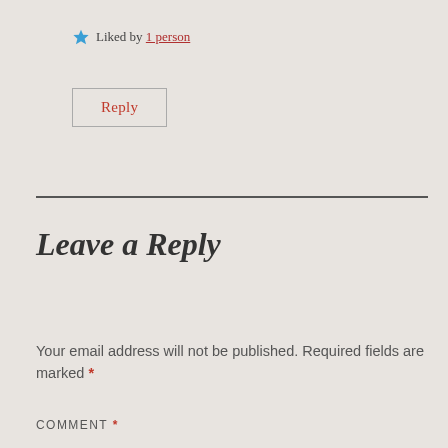★ Liked by 1 person
Reply
Leave a Reply
Your email address will not be published. Required fields are marked *
COMMENT *